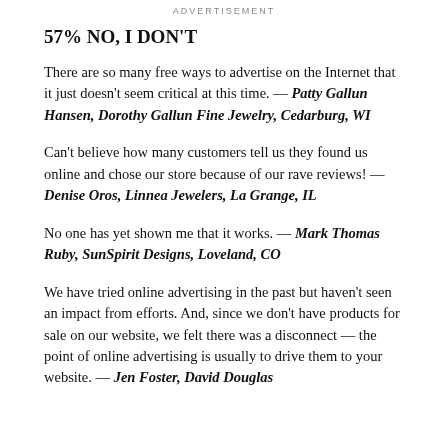ADVERTISEMENT
57% NO, I DON'T
There are so many free ways to advertise on the Internet that it just doesn't seem critical at this time. — Patty Gallun Hansen, Dorothy Gallun Fine Jewelry, Cedarburg, WI
Can't believe how many customers tell us they found us online and chose our store because of our rave reviews! — Denise Oros, Linnea Jewelers, La Grange, IL
No one has yet shown me that it works. — Mark Thomas Ruby, SunSpirit Designs, Loveland, CO
We have tried online advertising in the past but haven't seen an impact from efforts. And, since we don't have products for sale on our website, we felt there was a disconnect — the point of online advertising is usually to drive them to your website. — Jen Foster, David Douglas